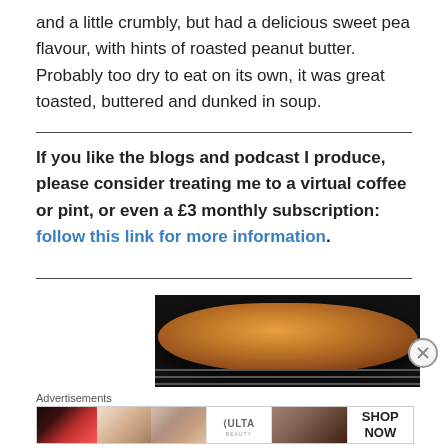and a little crumbly, but had a delicious sweet pea flavour, with hints of roasted peanut butter. Probably too dry to eat on its own, it was great toasted, buttered and dunked in soup.
If you like the blogs and podcast I produce, please consider treating me to a virtual coffee or pint, or even a £3 monthly subscription: follow this link for more information.
[Figure (photo): A golden-brown bread loaf on oven rack, viewed from above in a dark oven]
Advertisements
[Figure (photo): Advertisement banner showing beauty/makeup products including lips, brush, eye makeup, Ulta Beauty logo, smoky eyes, and SHOP NOW call to action]